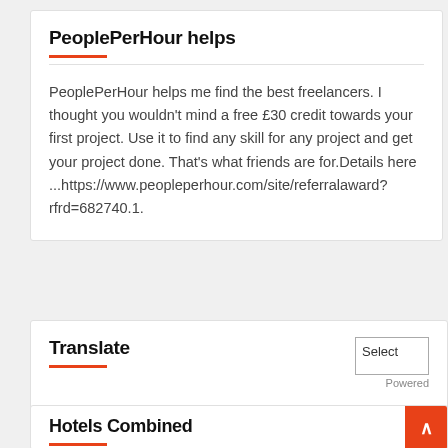PeoplePerHour helps
PeoplePerHour helps me find the best freelancers. I thought you wouldn't mind a free £30 credit towards your first project. Use it to find any skill for any project and get your project done. That's what friends are for.Details here ...https://www.peopleperhour.com/site/referralaward?rfrd=682740.1.
Translate
Hotels Combined